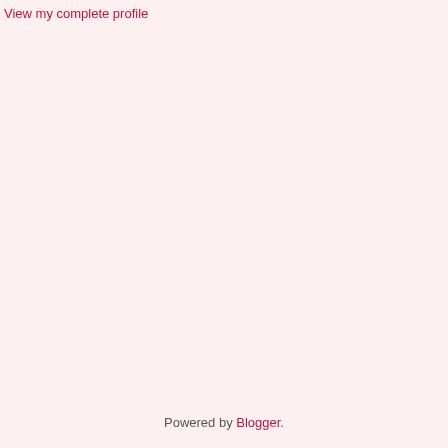View my complete profile
Powered by Blogger.